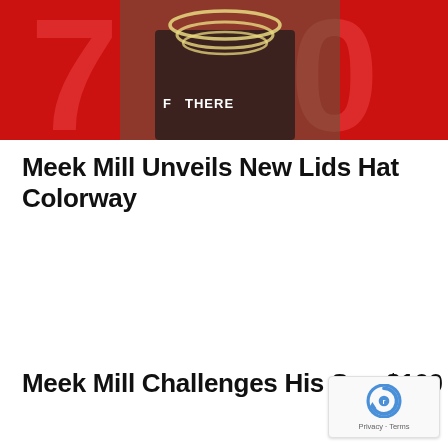[Figure (photo): A man wearing a camouflage jacket and heavy chain necklaces stands in front of a red background with large stylized numbers. He wears a black vest with text reading 'THERE'.]
Meek Mill Unveils New Lids Hat Colorway
Meek Mill Challenges His Son $100 Eat Crickets